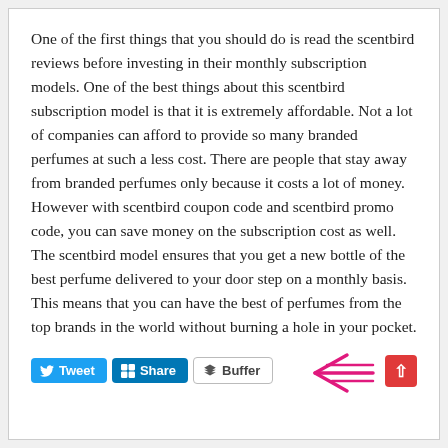One of the first things that you should do is read the scentbird reviews before investing in their monthly subscription models. One of the best things about this scentbird subscription model is that it is extremely affordable. Not a lot of companies can afford to provide so many branded perfumes at such a less cost. There are people that stay away from branded perfumes only because it costs a lot of money. However with scentbird coupon code and scentbird promo code, you can save money on the subscription cost as well. The scentbird model ensures that you get a new bottle of the best perfume delivered to your door step on a monthly basis. This means that you can have the best of perfumes from the top brands in the world without burning a hole in your pocket.
[Figure (infographic): Social sharing buttons: Tweet (blue, Twitter bird icon), Share (LinkedIn blue, LinkedIn icon), Buffer (white/grey, Buffer icon). Pink hand-drawn arrow pointing left on the right side. Red scroll-to-top button with up caret.]